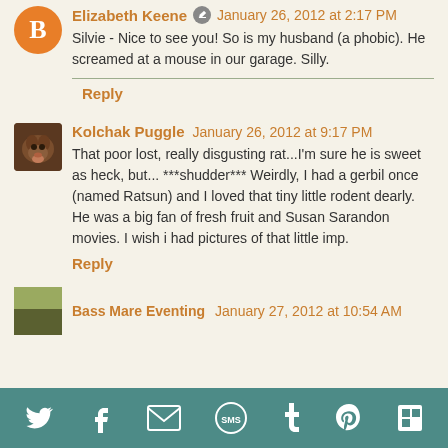Elizabeth Keene  January 26, 2012 at 2:17 PM
Silvie - Nice to see you! So is my husband (a phobic). He screamed at a mouse in our garage. Silly.
Reply
Kolchak Puggle  January 26, 2012 at 9:17 PM
That poor lost, really disgusting rat...I'm sure he is sweet as heck, but... ***shudder*** Weirdly, I had a gerbil once (named Ratsun) and I loved that tiny little rodent dearly. He was a big fan of fresh fruit and Susan Sarandon movies. I wish i had pictures of that little imp.
Reply
Bass Mare Eventing  January 27, 2012 at 10:54 AM